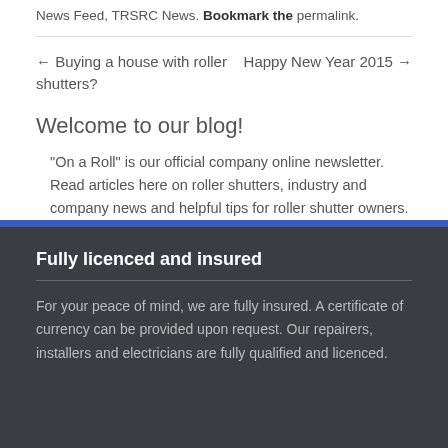News Feed, TRSRC News. Bookmark the permalink.
← Buying a house with roller shutters?
Happy New Year 2015 →
Welcome to our blog!
"On a Roll" is our official company online newsletter. Read articles here on roller shutters, industry and company news and helpful tips for roller shutter owners.
Fully licenced and insured
For your peace of mind, we are fully insured. A certificate of currency can be provided upon request. Our repairers, installers and electricians are fully qualified and licenced.